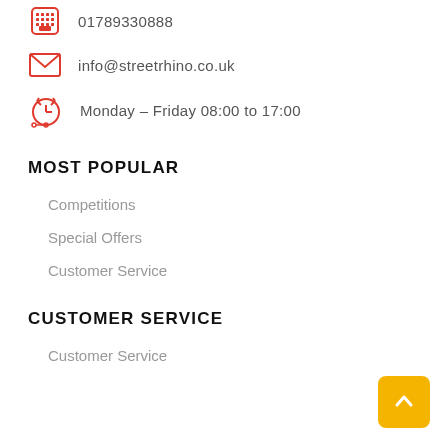01789330888
info@streetrhino.co.uk
Monday – Friday 08:00 to 17:00
MOST POPULAR
Competitions
Special Offers
Customer Service
CUSTOMER SERVICE
Customer Service